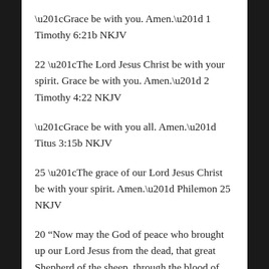“Grace be with you. Amen.” 1 Timothy 6:21b NKJV
22 “The Lord Jesus Christ be with your spirit. Grace be with you. Amen.” 2 Timothy 4:22 NKJV
“Grace be with you all. Amen.” Titus 3:15b NKJV
25 “The grace of our Lord Jesus Christ be with your spirit. Amen.” Philemon 25 NKJV
20 “Now may the God of peace who brought up our Lord Jesus from the dead, that great Shepherd of the sheep, through the blood of the everlasting covenant, 21 make you complete in every good work to do His will, working in you what is well pleasing in His sight, through Jesus Christ, to